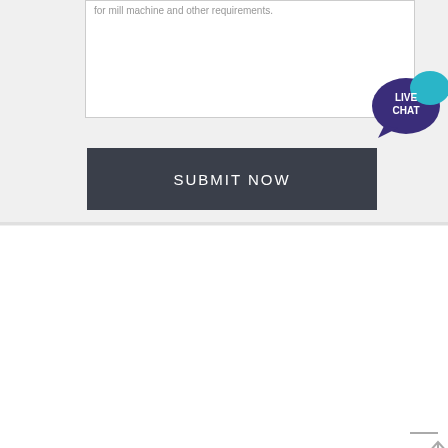for mill machine and other requirements.
[Figure (other): LIVE CHAT speech bubble icon in purple/teal]
SUBMIT NOW
stone crusher plant estimate costing india-DBM Crusher
Alibaba.com offers 13,881 stone crusher plant prices products. About 88% of these are crusher, 1% are sand making machinery, and 1% are vibrating screen. A wide variety of stone crusher plant prices options are available to you, such as free samples. There are 13,895